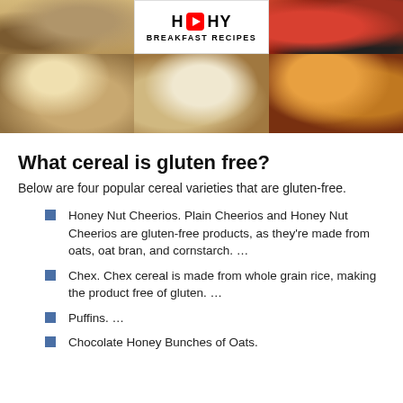[Figure (screenshot): YouTube thumbnail collage showing 'Healthy Breakfast Recipes' with food images including oatmeal with banana, granola, breaded items, and a YouTube play button logo in the center top.]
What cereal is gluten free?
Below are four popular cereal varieties that are gluten-free.
Honey Nut Cheerios. Plain Cheerios and Honey Nut Cheerios are gluten-free products, as they're made from oats, oat bran, and cornstarch. …
Chex. Chex cereal is made from whole grain rice, making the product free of gluten. …
Puffins. …
Chocolate Honey Bunches of Oats.